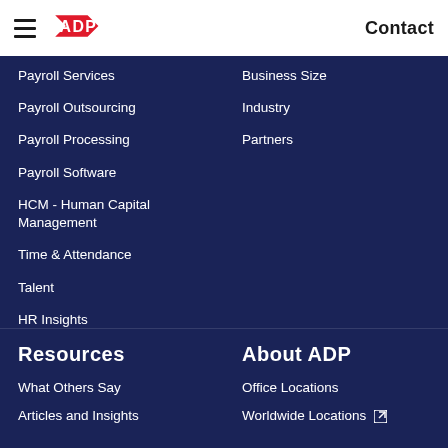[Figure (logo): ADP logo - red stylized arrow/chevron shape]
Contact
Payroll Services
Business Size
Payroll Outsourcing
Industry
Payroll Processing
Partners
Payroll Software
HCM - Human Capital Management
Time & Attendance
Talent
HR Insights
HR Services
Partner Integrations
Products
Resources
About ADP
What Others Say
Office Locations
Articles and Insights
Worldwide Locations